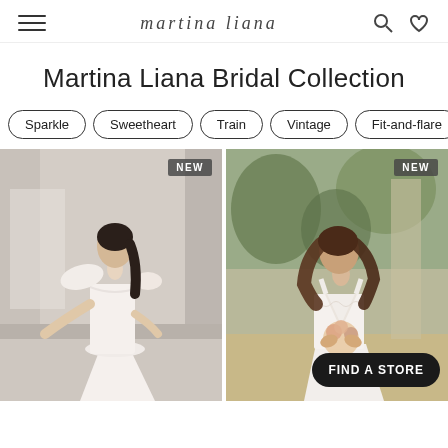martina liana
Martina Liana Bridal Collection
Sparkle
Sweetheart
Train
Vintage
Fit-and-flare
[Figure (photo): Bride in a white off-shoulder fitted wedding gown, posing against a light stone column. Badge reading NEW in top right corner.]
[Figure (photo): Bride in a white deep-V lace wedding gown holding a bouquet, standing outdoors. Badge reading NEW in top right corner. Find A Store button at bottom right.]